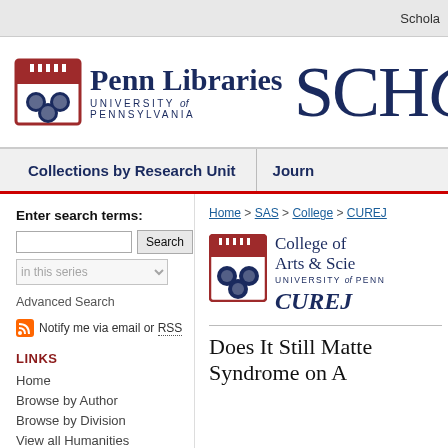Schola
[Figure (logo): Penn Libraries University of Pennsylvania logo with shield]
[Figure (logo): SCHO partial text logo (ScholarlyCommons)]
Collections by Research Unit | Journ
Enter search terms:
in this series
Advanced Search
Notify me via email or RSS
LINKS
Home
Browse by Author
Browse by Division
View all Humanities
Home > SAS > College > CUREJ
[Figure (logo): College of Arts & Sciences University of Pennsylvania logo with shield and CUREJ italic text]
Does It Still Matte... Syndrome on A...